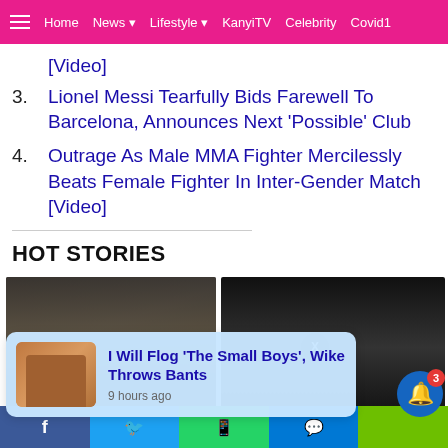Home | News | Lifestyle | KanyiTV | Celebrity | Covid1
[Video]
3. Lionel Messi Tearfully Bids Farewell To Barcelona, Announces Next 'Possible' Club
4. Outrage As Male MMA Fighter Mercilessly Beats Female Fighter In Inter-Gender Match [Video]
HOT STORIES
[Figure (photo): Left photo: group of men in confrontation at press event. Right photo: two boxers in ring during fight.]
I Will Flog 'The Small Boys', Wike Throws Bants — 9 hours ago